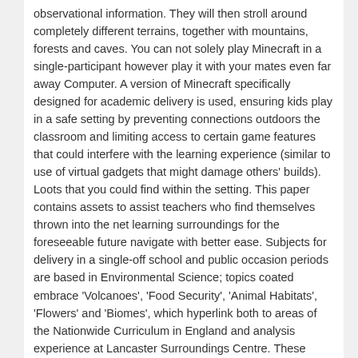observational information. They will then stroll around completely different terrains, together with mountains, forests and caves. You can not solely play Minecraft in a single-participant however play it with your mates even far away Computer. A version of Minecraft specifically designed for academic delivery is used, ensuring kids play in a safe setting by preventing connections outdoors the classroom and limiting access to certain game features that could interfere with the learning experience (similar to use of virtual gadgets that might damage others' builds). Loots that you could find within the setting. This paper contains assets to assist teachers who find themselves thrown into the net learning surroundings for the foreseeable future navigate with better ease. Subjects for delivery in a single-off school and public occasion periods are based in Environmental Science; topics coated embrace 'Volcanoes', 'Food Security', 'Animal Habitats', 'Flowers' and 'Biomes', which hyperlink both to areas of the Nationwide Curriculum in England and analysis experience at Lancaster Surroundings Centre. These often link to wider events and themes, with supply tailored to accommodate the numerous range of ages, backgrounds, and needs of attendees. These are held in a wide range of areas, similar to in native libraries and at science and community festivals, and range from brief periods working with small teams